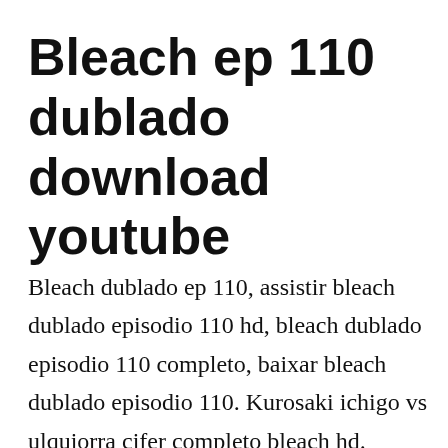Bleach ep 110 dublado download youtube
Bleach dublado ep 110, assistir bleach dublado episodio 110 hd, bleach dublado episodio 110 completo, baixar bleach dublado episodio 110. Kurosaki ichigo vs ulquiorra cifer completo bleach hd. Bleach s6 episodio 110, untitled, assista na crunchyroll. Sub and dub ichigo and his friends have returned from